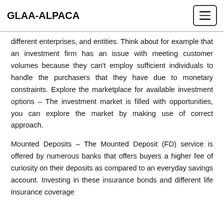GLAA-ALPACA
different enterprises, and entities. Think about for example that an investment firm has an issue with meeting customer volumes because they can't employ sufficient individuals to handle the purchasers that they have due to monetary constraints. Explore the marketplace for available investment options – The investment market is filled with opportunities, you can explore the market by making use of correct approach.
Mounted Deposits – The Mounted Deposit (FD) service is offered by numerous banks that offers buyers a higher fee of curiosity on their deposits as compared to an everyday savings account. Investing in these insurance bonds and different life insurance coverage